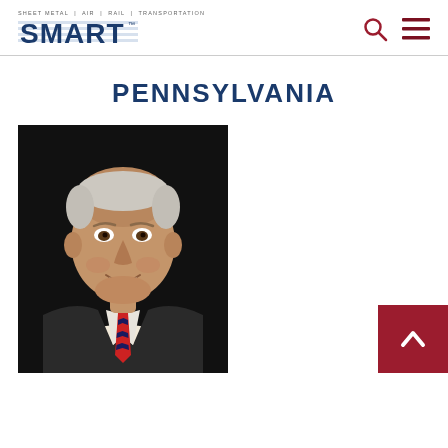SMART – Sheet Metal | Air | Rail | Transportation
PENNSYLVANIA
[Figure (photo): Professional headshot of a middle-aged man in a dark pinstripe suit with a red, white, and blue striped tie, smiling against a dark background.]